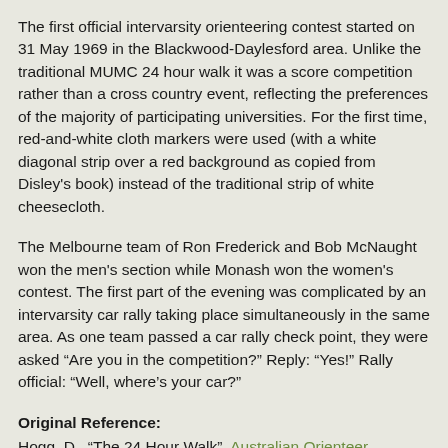The first official intervarsity orienteering contest started on 31 May 1969 in the Blackwood-Daylesford area. Unlike the traditional MUMC 24 hour walk it was a score competition rather than a cross country event, reflecting the preferences of the majority of participating universities. For the first time, red-and-white cloth markers were used (with a white diagonal strip over a red background as copied from Disley's book) instead of the traditional strip of white cheesecloth.
The Melbourne team of Ron Frederick and Bob McNaught won the men's section while Monash won the women's contest. The first part of the evening was complicated by an intervarsity car rally taking place simultaneously in the same area. As one team passed a car rally check point, they were asked “Are you in the competition?” Reply: “Yes!” Rally official: “Well, where’s your car?”
Original Reference:
Hogg, D., “The 24 Hour Walk”, Australian Orienteer, June/July 1986, p14, p15